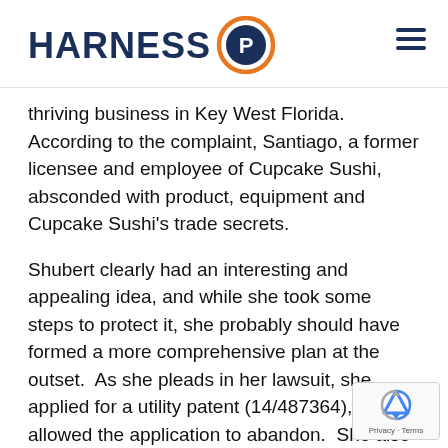HARNESS IP
thriving business in Key West Florida.  According to the complaint, Santiago, a former licensee and employee of Cupcake Sushi, absconded with product, equipment and Cupcake Sushi's trade secrets.
Shubert clearly had an interesting and appealing idea, and while she took some steps to protect it, she probably should have formed a more comprehensive plan at the outset.  As she pleads in her lawsuit, she applied for a utility patent (14/487364), but she allowed the application to abandon.  She also applied for and obtained a design patent (D789,025), but filed the application several years after she claims to have developed her product.  Even if this